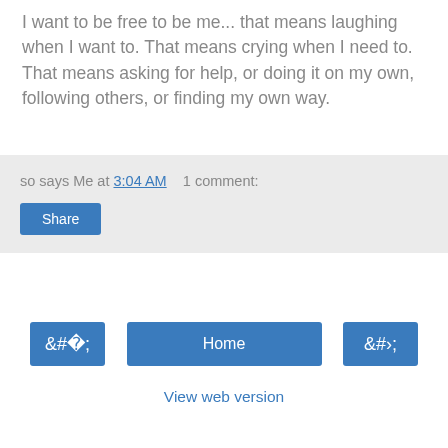I want to be free to be me... that means laughing when I want to. That means crying when I need to. That means asking for help, or doing it on my own, following others, or finding my own way.
so says Me at 3:04 AM   1 comment:
Share
‹
Home
›
View web version